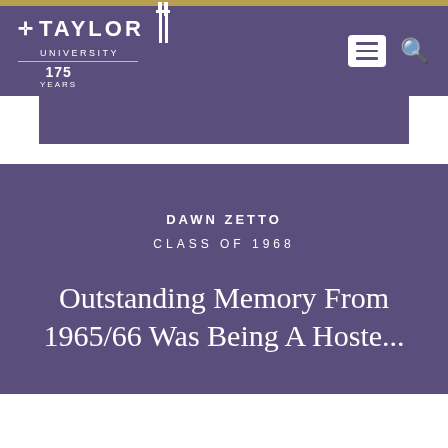[Figure (logo): Taylor University 175 Years logo with cross and tower icon in white on purple background]
DAWN ZETTO
CLASS OF 1968
Outstanding Memory From 1965/66 Was Being A Hoste...